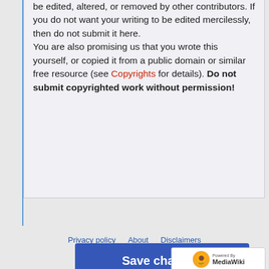be edited, altered, or removed by other contributors. If you do not want your writing to be edited mercilessly, then do not submit it here. You are also promising us that you wrote this yourself, or copied it from a public domain or similar free resource (see Copyrights for details). Do not submit copyrighted work without permission!
[Figure (screenshot): Save changes button (blue), Show preview button (white outlined), Show changes button (white outlined), Cancel link (red)]
Privacy policy   About   Disclaimers
[Figure (logo): Powered by MediaWiki logo with sunflower icon]